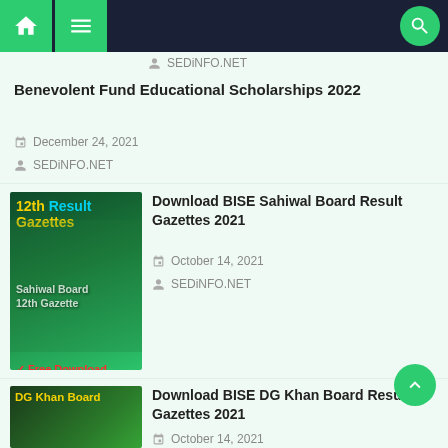Navigation bar with home, menu, and search
SEDiNFO.NET
Benevolent Fund Educational Scholarships 2022
December 24, 2021
SEDiNFO.NET
[Figure (photo): 12th Result Gazettes promotional image with Sahiwal Board 12th Gazette and Free Download text overlay]
Download BISE Sahiwal Board Result Gazettes 2021
October 14, 2021
SEDiNFO.NET
[Figure (photo): DG Khan Board promotional image]
Download BISE DG Khan Board Result Gazettes 2021
October 14, 2021